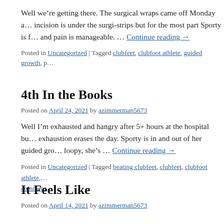Well we're getting there. The surgical wraps came off Monday a… incision is under the surgi-strips but for the most part Sporty is f… and pain is manageable. … Continue reading →
Posted in Uncategorized | Tagged clubfeet, clubfoot athlete, guided growth, p…
4th In the Books
Posted on April 24, 2021 by azimmerman5673
Well I'm exhausted and hangry after 5+ hours at the hospital bu… exhaustion erases the day. Sporty is in and out of her guided gro… loopy, she's … Continue reading →
Posted in Uncategorized | Tagged beating clubfeet, clubfeet, clubfoot athlete, … comment
It Feels Like
Posted on April 14, 2021 by azimmerman5673